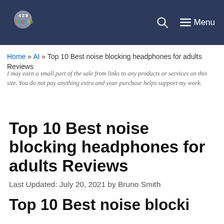429 Records | Menu
Home » AI » Top 10 Best noise blocking headphones for adults Reviews
I may earn a small part of the sale from links to any products or services on this site. You do not pay anything extra and your purchase helps support my work.
Top 10 Best noise blocking headphones for adults Reviews
Last Updated: July 20, 2021 by Bruno Smith
Top 10 Best noise blocki…